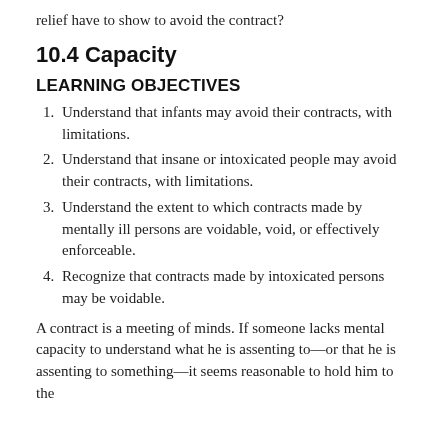relief have to show to avoid the contract?
10.4 Capacity
LEARNING OBJECTIVES
Understand that infants may avoid their contracts, with limitations.
Understand that insane or intoxicated people may avoid their contracts, with limitations.
Understand the extent to which contracts made by mentally ill persons are voidable, void, or effectively enforceable.
Recognize that contracts made by intoxicated persons may be voidable.
A contract is a meeting of minds. If someone lacks mental capacity to understand what he is assenting to—or that he is assenting to something—it seems reasonable to hold him to the